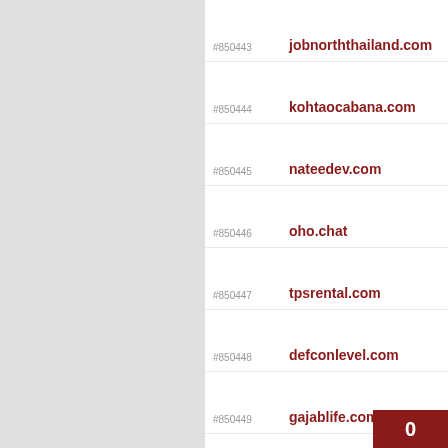#850443 jobnorththailand.com
#850444 kohtaocabana.com
#850445 nateedev.com
#850446 oho.chat
#850447 tpsrental.com
#850448 defconlevel.com
#850449 gajablife.com
#850450 apkhut.net
#850451 brightbehavior.org
#850452 discountjaguar.com
#850453 eshazuusa.com
#850454 filppit.com
#850455 frostfairs.com